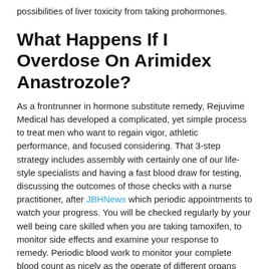possibilities of liver toxicity from taking prohormones.
What Happens If I Overdose On Arimidex Anastrozole?
As a frontrunner in hormone substitute remedy, Rejuvime Medical has developed a complicated, yet simple process to treat men who want to regain vigor, athletic performance, and focused considering. That 3-step strategy includes assembly with certainly one of our life-style specialists and having a fast blood draw for testing, discussing the outcomes of those checks with a nurse practitioner, after JBHNews which periodic appointments to watch your progress. You will be checked regularly by your well being care skilled when you are taking tamoxifen, to monitor side effects and examine your response to remedy. Periodic blood work to monitor your complete blood count as nicely as the operate of different organs may be ordered by your doctor.